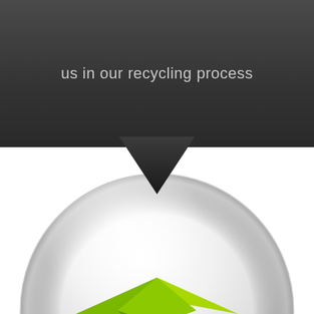us in our recycling process
[Figure (illustration): Dark chevron/downward arrow shape pointing down from the dark banner into the white section below]
[Figure (illustration): A glossy transparent glass sphere/dome with a green origami paper plane or arrow shape visible inside at the bottom]